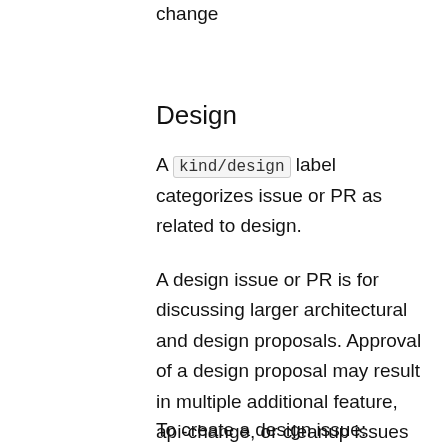change
Design
A kind/design label categorizes issue or PR as related to design.
A design issue or PR is for discussing larger architectural and design proposals. Approval of a design proposal may result in multiple additional feature, api-change, or cleanup issues being created to implement the design.
To create a design issue: